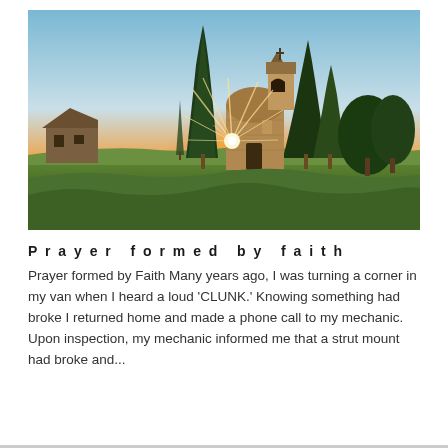[Figure (photo): Photograph of a small stone chapel or church with a bell tower, surrounded by tall cypress trees, taken at sunset. A bright sunburst radiates through the trees behind the church. A farmhouse is visible on the left. Green grass in the foreground, warm orange and golden sky.]
Prayer formed by faith
Prayer formed by Faith Many years ago, I was turning a corner in my van when I heard a loud 'CLUNK.' Knowing something had broke I returned home and made a phone call to my mechanic. Upon inspection, my mechanic informed me that a strut mount had broke and...